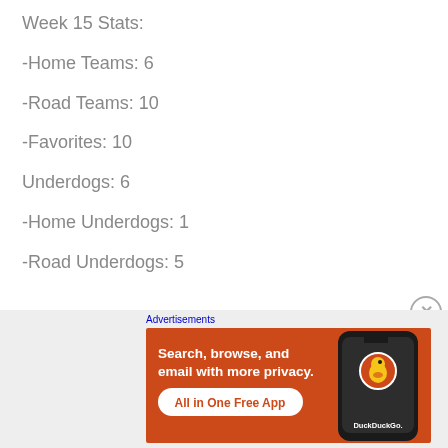Week 15 Stats:
-Home Teams: 6
-Road Teams: 10
-Favorites: 10
Underdogs: 6
-Home Underdogs: 1
-Road Underdogs: 5
Advertisements
[Figure (screenshot): DuckDuckGo advertisement banner: orange background with white bold text 'Search, browse, and email with more privacy.' and 'All in One Free App' button, with a smartphone image showing DuckDuckGo logo]